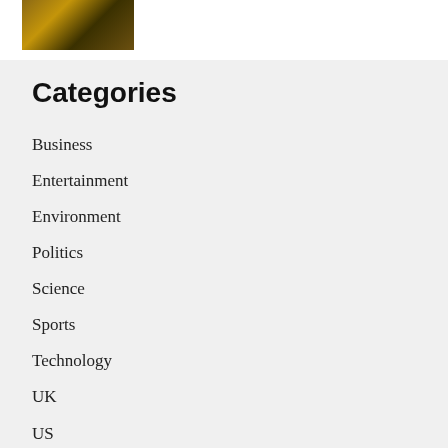[Figure (photo): Small thumbnail photograph showing a golden/brown scene, partially visible at top left]
Categories
Business
Entertainment
Environment
Politics
Science
Sports
Technology
UK
US